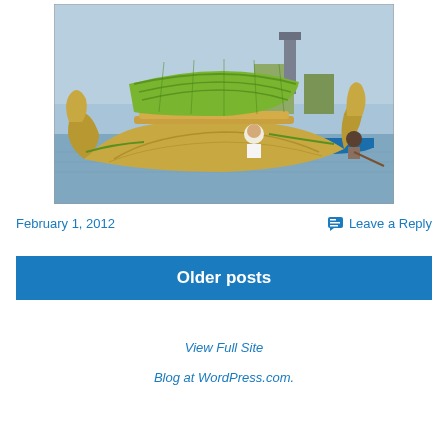[Figure (photo): A traditional reed boat (totora) on a lake, with a thatched green roof and curved prow, person in white shirt seated inside, another person paddling in a blue boat to the right, floating reed islands and structures in background, overcast sky.]
February 1, 2012
Leave a Reply
Older posts
View Full Site
Blog at WordPress.com.